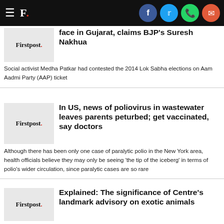Firstpost — navigation bar with social icons (Facebook, Twitter, WhatsApp, Email)
face in Gujarat, claims BJP's Suresh Nakhua
Social activist Medha Patkar had contested the 2014 Lok Sabha elections on Aam Aadmi Party (AAP) ticket
In US, news of poliovirus in wastewater leaves parents peturbed; get vaccinated, say doctors
Although there has been only one case of paralytic polio in the New York area, health officials believe they may only be seeing 'the tip of the iceberg' in terms of polio's wider circulation, since paralytic cases are so rare
Explained: The significance of Centre's landmark advisory on exotic animals
Exotic li...